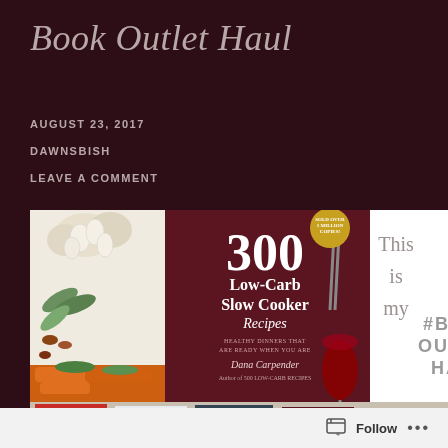Book Outlet Haul
AUGUST 23, 2017
DAWNSBISH
LEAVE A COMMENT
[Figure (photo): Photo collage showing a book cover '300 Low-Carb Slow Cooker Recipes' by Dana Carpender with food photography, plus a white panel with '#BOOK OUTLET HAUL' text, and text overlay reading 'This is my'. Bottom strip shows multiple book covers including The Mime Order, Bone Season, A World Without You, and 300 Low-Carb Slow Cooker.]
Follow ...